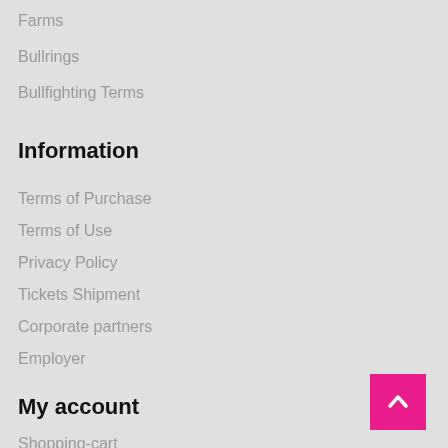Farms
Bullrings
Bullfighting Terms
Information
Terms of Purchase
Terms of Use
Privacy Policy
Tickets Shipment
Corporate partners
Employer
My account
Shopping-cart
Personal information